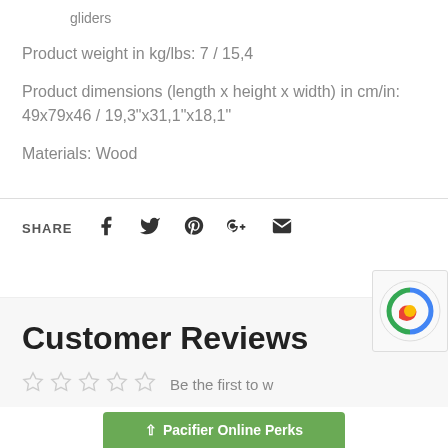gliders
Product weight in kg/lbs: 7 / 15,4
Product dimensions (length x height x width) in cm/in: 49x79x46 / 19,3"x31,1"x18,1"
Materials: Wood
SHARE
Customer Reviews
Be the first to w...